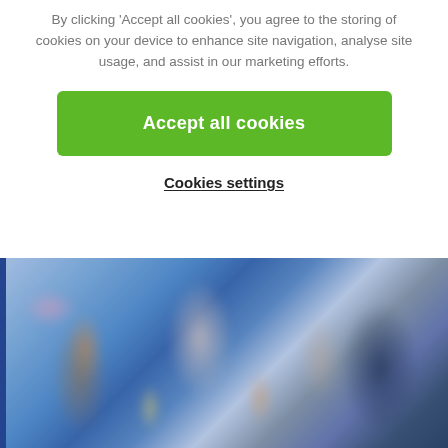By clicking 'Accept all cookies', you agree to the storing of cookies on your device to enhance site navigation, analyse site usage, and assist in our marketing efforts.
[Figure (other): Green 'Accept all cookies' button]
Cookies settings
[Figure (photo): Blurry sports/action photo with blue background showing figures in motion]